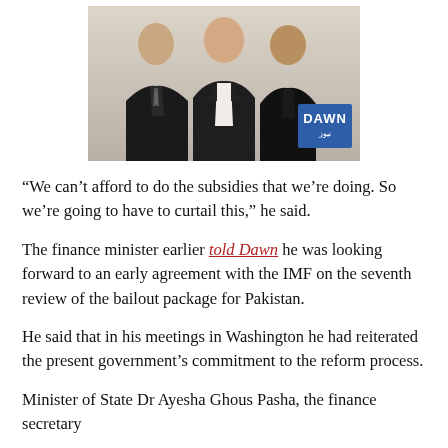[Figure (photo): Three men in suits posed together with a DAWN News logo/badge in the bottom right corner of the image.]
“We can’t afford to do the subsidies that we’re doing. So we’re going to have to curtail this,” he said.
The finance minister earlier told Dawn he was looking forward to an early agreement with the IMF on the seventh review of the bailout package for Pakistan.
He said that in his meetings in Washington he had reiterated the present government’s commitment to the reform process.
Minister of State Dr Ayesha Ghous Pasha, the finance secretary